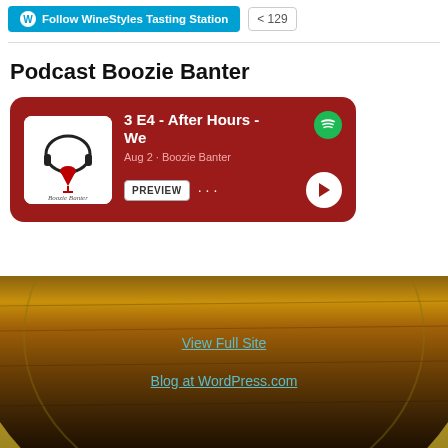Follow WineStyles Tasting Station  129
Podcast Boozie Banter
[Figure (screenshot): Spotify podcast embed card on dark red background showing episode '3 E4 - After Hours - We' by Boozie Banter, Aug 2, with PREVIEW button and play control]
[Figure (photo): Close-up photo of a wooden wine barrel, warm golden-brown tones]
View Full Site
Blog at WordPress.com